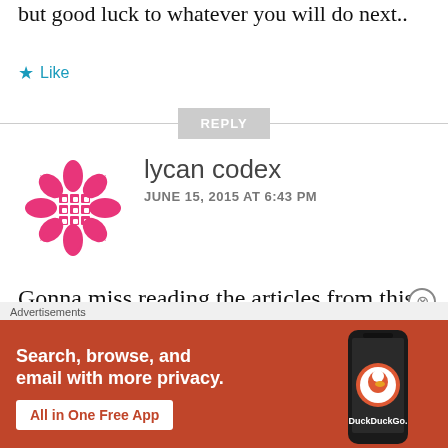but good luck to whatever you will do next..
Like
REPLY
lycan codex
JUNE 15, 2015 AT 6:43 PM
Gonna miss reading the articles from this site. Have been a regular for couple of years atleast. All the best for
[Figure (infographic): DuckDuckGo advertisement banner with orange background. Text reads: Search, browse, and email with more privacy. All in One Free App. Shows a phone with DuckDuckGo logo.]